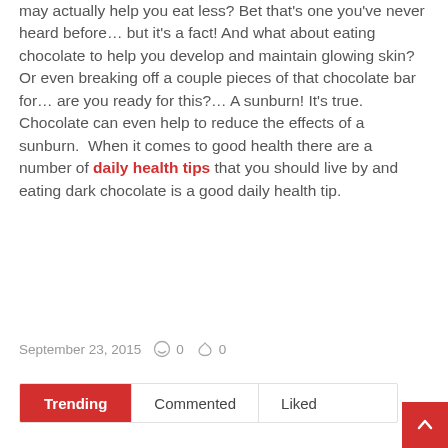may actually help you eat less? Bet that's one you've never heard before… but it's a fact! And what about eating chocolate to help you develop and maintain glowing skin? Or even breaking off a couple pieces of that chocolate bar for… are you ready for this?… A sunburn! It's true. Chocolate can even help to reduce the effects of a sunburn.  When it comes to good health there are a number of daily health tips that you should live by and eating dark chocolate is a good daily health tip.
September 23, 2015  0  0
Trending  Commented  Liked